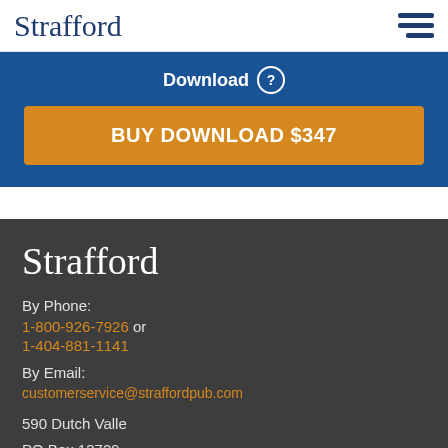Strafford
Download
BUY DOWNLOAD $347
[Figure (logo): Strafford logo in white on dark gray footer background]
By Phone:
1-800-926-7926 or
1-404-881-1141
By Email:
customerservice@straffordpub.com
590 Dutch Valle
PO Box 13729
CHAT or 800-926-7926